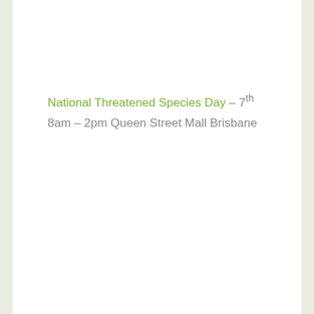National Threatened Species Day – 7th 8am – 2pm Queen Street Mall Brisbane